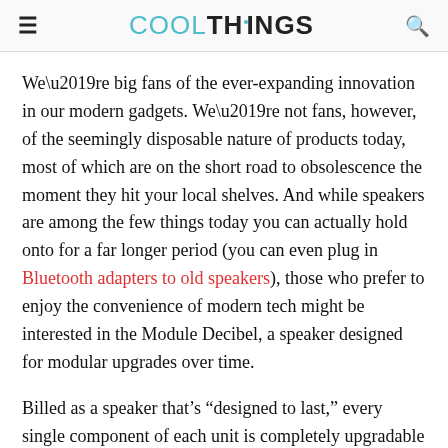COOLTHINGS
We’re big fans of the ever-expanding innovation in our modern gadgets. We’re not fans, however, of the seemingly disposable nature of products today, most of which are on the short road to obsolescence the moment they hit your local shelves. And while speakers are among the few things today you can actually hold onto for a far longer period (you can even plug in Bluetooth adapters to old speakers), those who prefer to enjoy the convenience of modern tech might be interested in the Module Decibel, a speaker designed for modular upgrades over time.
Billed as a speaker that’s “designed to last,” every single component of each unit is completely upgradable by the user. And, no, it doesn’t require even the most basic of engineering know-how, as it uses easily-swappable